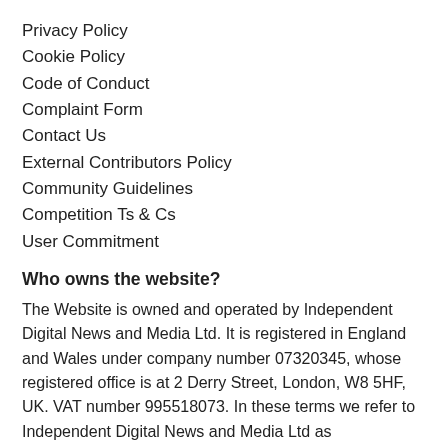Privacy Policy
Cookie Policy
Code of Conduct
Complaint Form
Contact Us
External Contributors Policy
Community Guidelines
Competition Ts & Cs
User Commitment
Who owns the website?
The Website is owned and operated by Independent Digital News and Media Ltd. It is registered in England and Wales under company number 07320345, whose registered office is at 2 Derry Street, London, W8 5HF, UK. VAT number 995518073. In these terms we refer to Independent Digital News and Media Ltd as ‘Independent.co.uk’.
Independent.co.uk reserves the right to suspend or terminate your access to the Website at any time, with or without notice or explanation, if we believe you are violating the Terms in